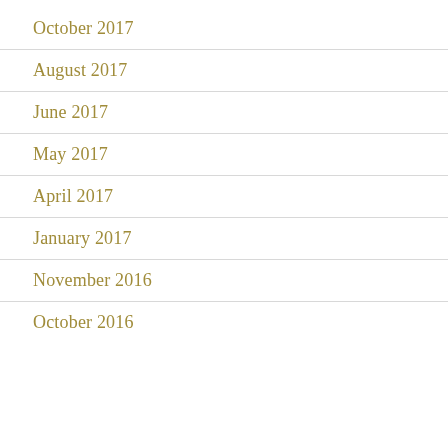October 2017
August 2017
June 2017
May 2017
April 2017
January 2017
November 2016
October 2016